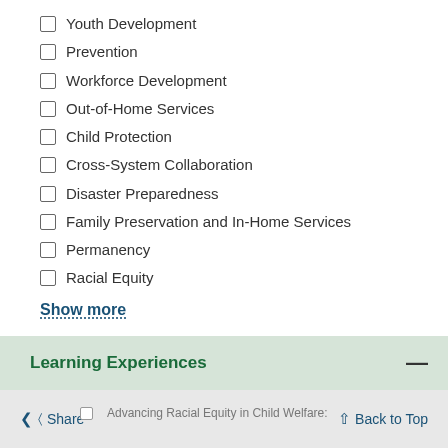Youth Development
Prevention
Workforce Development
Out-of-Home Services
Child Protection
Cross-System Collaboration
Disaster Preparedness
Family Preservation and In-Home Services
Permanency
Racial Equity
Show more
Learning Experiences
Share   Back to Top   Advancing Racial Equity in Child Welfare: